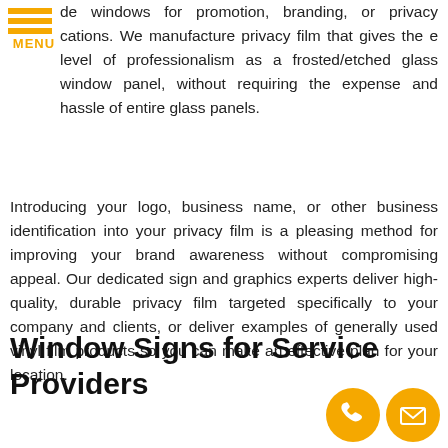[Figure (logo): Orange hamburger menu icon with three horizontal lines and MENU text]
de windows for promotion, branding, or privacy cations. We manufacture privacy film that gives the e level of professionalism as a frosted/etched glass window panel, without requiring the expense and hassle of entire glass panels.
Introducing your logo, business name, or other business identification into your privacy film is a pleasing method for improving your brand awareness without compromising appeal. Our dedicated sign and graphics experts deliver high-quality, durable privacy film targeted specifically to your company and clients, or deliver examples of generally used vinyl film products so you can make an effective plan for your location.
Window Signs for Service Providers
[Figure (infographic): Two orange circular icons: a phone handset icon and an envelope/mail icon]